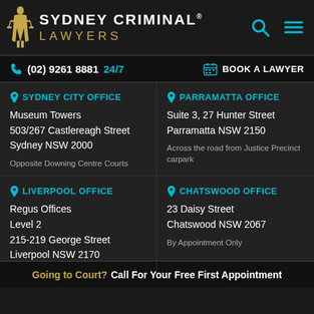SYDNEY CRIMINAL® LAWYERS
(02) 9261 8881  24/7  BOOK A LAWYER
SYDNEY CITY OFFICE
Museum Towers
503/267 Castlereagh Street
Sydney NSW 2000
Opposite Downing Centre Courts
PARRAMATTA OFFICE
Suite 3, 27 Hunter Street
Parramatta NSW 2150
Across the road from Justice Precinct carpark
LIVERPOOL OFFICE
Regus Offices
Level 2
215-219 George Street
Liverpool NSW 2170
CHATSWOOD OFFICE
23 Daisy Street
Chatswood NSW 2067
By Appointment Only
Going to Court? Call For Your Free First Appointment